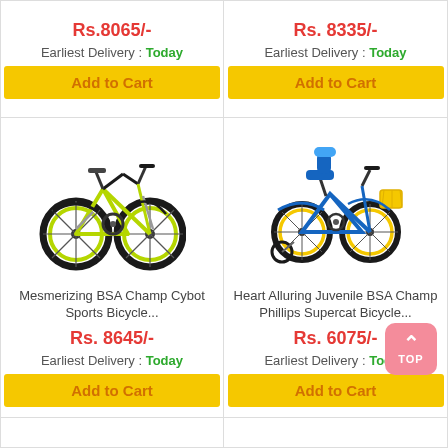Rs.8065/-
Earliest Delivery : Today
Add to Cart
Rs. 8335/-
Earliest Delivery : Today
Add to Cart
[Figure (photo): Green/black BSA Champ Cybot Sports Bicycle]
Mesmerizing BSA Champ Cybot Sports Bicycle...
Rs. 8645/-
Earliest Delivery : Today
Add to Cart
[Figure (photo): Blue/yellow Heart Alluring Juvenile BSA Champ Phillips Supercat Bicycle with training wheels and basket]
Heart Alluring Juvenile BSA Champ Phillips Supercat Bicycle...
Rs. 6075/-
Earliest Delivery : Today
Add to Cart